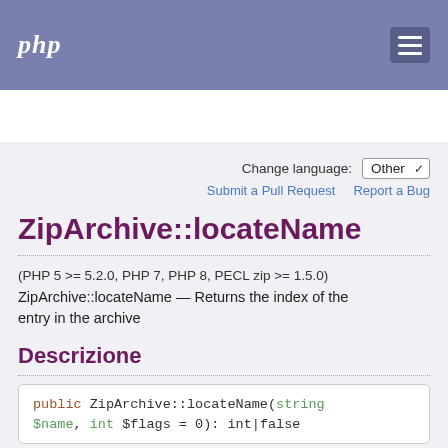php
Search
ZipArchive::locateName
(PHP 5 >= 5.2.0, PHP 7, PHP 8, PECL zip >= 1.5.0)
ZipArchive::locateName — Returns the index of the entry in the archive
Descrizione
public ZipArchive::locateName(string $name, int $flags = 0): int|false